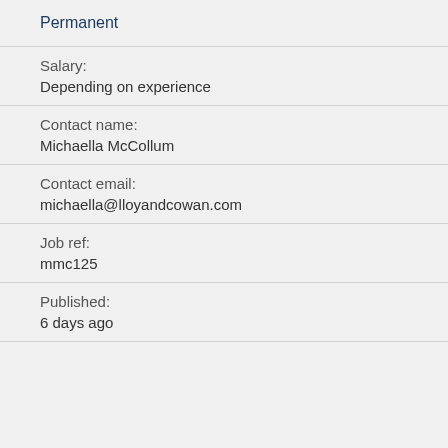Permanent
Salary:
Depending on experience
Contact name:
Michaella McCollum
Contact email:
michaella@lloyandcowan.com
Job ref:
mmc125
Published:
6 days ago